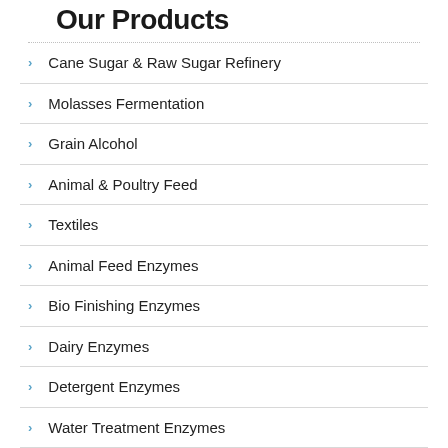Our Products
Cane Sugar & Raw Sugar Refinery
Molasses Fermentation
Grain Alcohol
Animal & Poultry Feed
Textiles
Animal Feed Enzymes
Bio Finishing Enzymes
Dairy Enzymes
Detergent Enzymes
Water Treatment Enzymes
Industrial Enzymes Manufactures